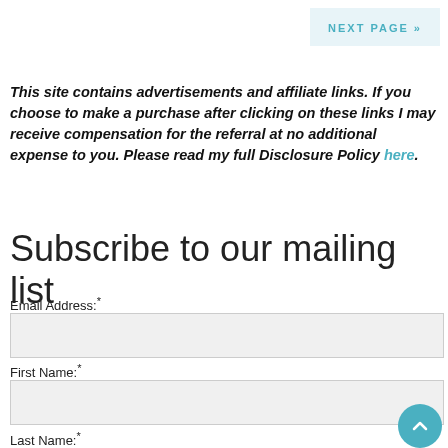NEXT PAGE »
This site contains advertisements and affiliate links. If you choose to make a purchase after clicking on these links I may receive compensation for the referral at no additional expense to you. Please read my full Disclosure Policy here.
Subscribe to our mailing list
Email Address:*
First Name:*
Last Name:*